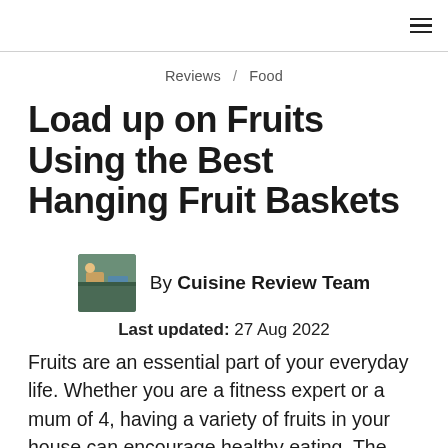≡
Reviews / Food
Load up on Fruits Using the Best Hanging Fruit Baskets
By Cuisine Review Team
Last updated: 27 Aug 2022
Fruits are an essential part of your everyday life. Whether you are a fitness expert or a mum of 4, having a variety of fruits in your house can encourage healthy eating. The only problem is that with other kitchen utensils and food items, it's difficult to find